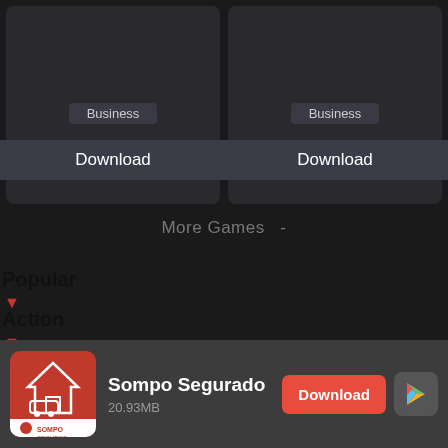[Figure (screenshot): Two app cards each showing 'Business' label and 'Download' button on dark background]
More Games  -
Popular
Action
Strategy
Casual
[Figure (infographic): Ad banner for Sompo Segurado app with icon, 20.93MB size, Download button and Google Play icon]